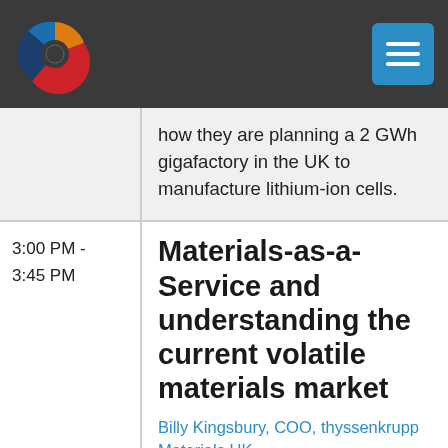Navigation header with logo and menu button
how they are planning a 2 GWh gigafactory in the UK to manufacture lithium-ion cells.
3:00 PM - 3:45 PM
Materials-as-a-Service and understanding the current volatile materials market
Billy Kingsbury, COO, thyssenkrupp Materials UK, ,
The world's leading supplier of stainless steel, aluminium and mild